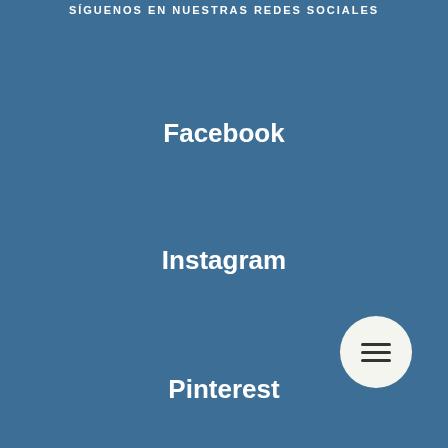SIGUENOS EN NUESTRAS REDES SOCIALES
Facebook
Instagram
[Figure (illustration): White circular menu/hamburger button with three horizontal lines]
Pinterest